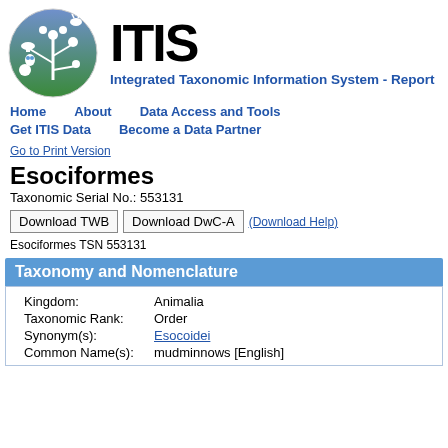[Figure (logo): ITIS circular logo with deer, plants, mushroom, owl on blue-green gradient background]
ITIS
Integrated Taxonomic Information System - Report
Home   About   Data Access and Tools
Get ITIS Data   Become a Data Partner
Go to Print Version
Esociformes
Taxonomic Serial No.: 553131
Download TWB  Download DwC-A  (Download Help) Esociformes TSN 553131
Taxonomy and Nomenclature
| Field | Value |
| --- | --- |
| Kingdom: | Animalia |
| Taxonomic Rank: | Order |
| Synonym(s): | Esocoidei |
| Common Name(s): | mudminnows [English] |